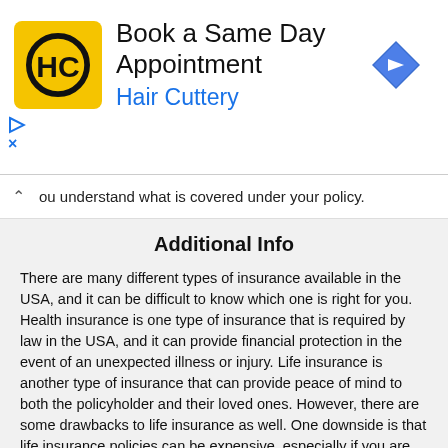[Figure (other): Hair Cuttery advertisement banner with logo and 'Book a Same Day Appointment' text and navigation arrow icon]
ou understand what is covered under your policy.
Additional Info
There are many different types of insurance available in the USA, and it can be difficult to know which one is right for you. Health insurance is one type of insurance that is required by law in the USA, and it can provide financial protection in the event of an unexpected illness or injury. Life insurance is another type of insurance that can provide peace of mind to both the policyholder and their loved ones. However, there are some drawbacks to life insurance as well. One downside is that life insurance policies can be expensive, especially if you are young and healthy. Additionally, life insurance benefits are paid out after the policyholder's death, which means that they will not be able to use them to cover expenses incurred while they were alive.
When choosing an insurance company, it is important to compare rates and coverage options before you make a decision. Be sure to read the fine print so that you understand what is covered under your policy. You may also want to consider whether or not an insurance company offers discounts on health and wellness